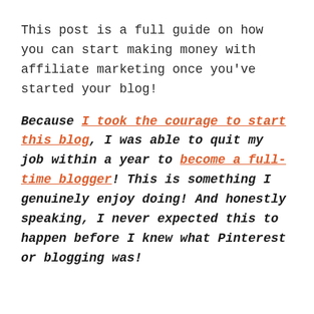This post is a full guide on how you can start making money with affiliate marketing once you've started your blog!
Because I took the courage to start this blog, I was able to quit my job within a year to become a full-time blogger! This is something I genuinely enjoy doing! And honestly speaking, I never expected this to happen before I knew what Pinterest or blogging was!